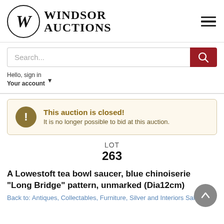[Figure (logo): Windsor Auctions logo with circular W emblem and text 'WINDSOR AUCTIONS']
Hello, sign in
Your account
This auction is closed! It is no longer possible to bid at this auction.
LOT
263
A Lowestoft tea bowl saucer, blue chinoiserie "Long Bridge" pattern, unmarked (Dia12cm)
Back to: Antiques, Collectables, Furniture, Silver and Interiors Sale